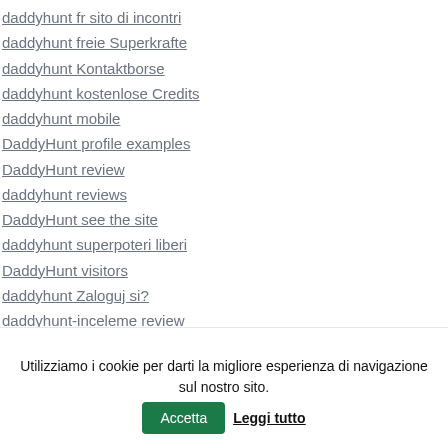daddyhunt fr sito di incontri
daddyhunt freie Superkrafte
daddyhunt Kontaktborse
daddyhunt kostenlose Credits
daddyhunt mobile
DaddyHunt profile examples
DaddyHunt review
daddyhunt reviews
DaddyHunt see the site
daddyhunt superpoteri liberi
DaddyHunt visitors
daddyhunt Zaloguj si?
daddyhunt-inceleme review
daddyhunt-recenze Recenze
daf apk premium
Daf elite rencontre
Utilizziamo i cookie per darti la migliore esperienza di navigazione sul nostro sito. Accetta Leggi tutto